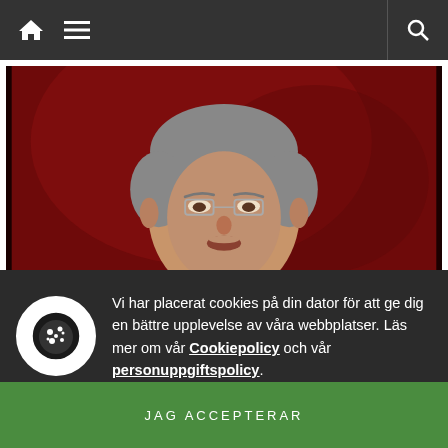Navigation bar with home icon, menu icon, and search icon
[Figure (photo): Close-up photo of a middle-aged man with grey hair and glasses against a dark red background]
Vi har placerat cookies på din dator för att ge dig en bättre upplevelse av våra webbplatser. Läs mer om vår Cookiepolicy och vår personuppgiftspolicy.
JAG ACCEPTERAR